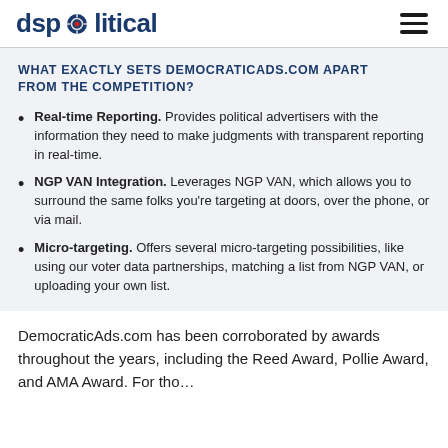dspolitical
WHAT EXACTLY SETS DEMOCRATICADS.COM APART FROM THE COMPETITION?
Real-time Reporting. Provides political advertisers with the information they need to make judgments with transparent reporting in real-time.
NGP VAN Integration. Leverages NGP VAN, which allows you to surround the same folks you're targeting at doors, over the phone, or via mail.
Micro-targeting. Offers several micro-targeting possibilities, like using our voter data partnerships, matching a list from NGP VAN, or uploading your own list.
DemocraticAds.com has been corroborated by awards throughout the years, including the Reed Award, Pollie Award, and AMA Award. For tho...